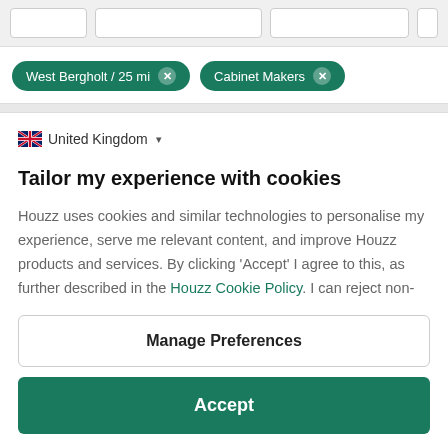[Figure (screenshot): Top bar with search input boxes partially visible]
West Bergholt / 25 mi ×
Cabinet Makers ×
🇬🇧 United Kingdom ▾
Tailor my experience with cookies
Houzz uses cookies and similar technologies to personalise my experience, serve me relevant content, and improve Houzz products and services. By clicking 'Accept' I agree to this, as further described in the Houzz Cookie Policy. I can reject non-
Manage Preferences
Accept